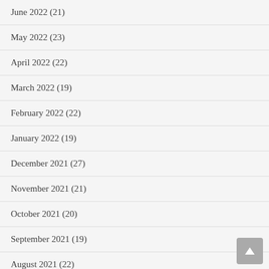June 2022 (21)
May 2022 (23)
April 2022 (22)
March 2022 (19)
February 2022 (22)
January 2022 (19)
December 2021 (27)
November 2021 (21)
October 2021 (20)
September 2021 (19)
August 2021 (22)
July 2021 (24)
June 2021 (20)
May 2021 (21)